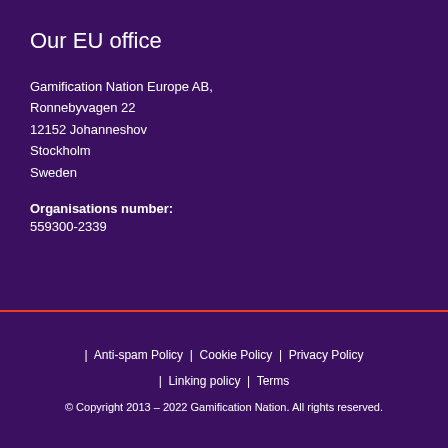Our EU office
Gamification Nation Europe AB,
Ronnebyvagen 22
12152 Johanneshov
Stockholm
Sweden
Organisations number:
559300-2339
| Anti-spam Policy | Cookie Policy | Privacy Policy
| Linking policy | Terms
© Copyright 2013 – 2022 Gamification Nation. All rights reserved.